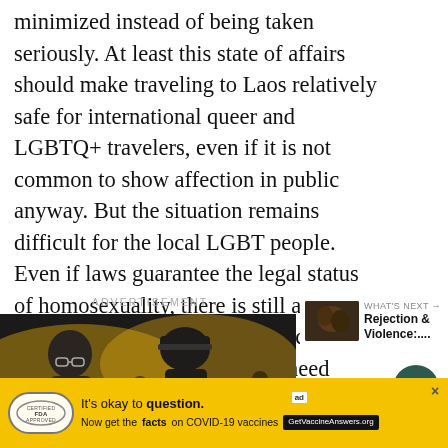minimized instead of being taken seriously. At least this state of affairs should make traveling to Laos relatively safe for international queer and LGBTQ+ travelers, even if it is not common to show affection in public anyway. But the situation remains difficult for the local LGBT people. Even if laws guarantee the legal status of homosexuality, there is still a very long way to go before equality can be achieved. For this, you would need greater visibility of the LGBT community.
[Figure (other): Heart/like button (dark green circle with white heart icon) and share button (circle with share icon), with count '100' below heart button]
ADVERTISEMENT
[Figure (photo): Advertisement image showing people at what appears to be a sports event with yellow background. Contains 'ad' badge overlay.]
[Figure (other): WHAT'S NEXT panel showing thumbnail image and text 'Rejection & Violence:...']
[Figure (other): Bottom advertisement bar with yellow background. Logo oval on left with stamp-like design. Text reads: 'It's okay to question. Now get the facts on COVID-19 vaccines' with GetVaccineAnswers.org badge. Close X button. Small 'ad' icon.]